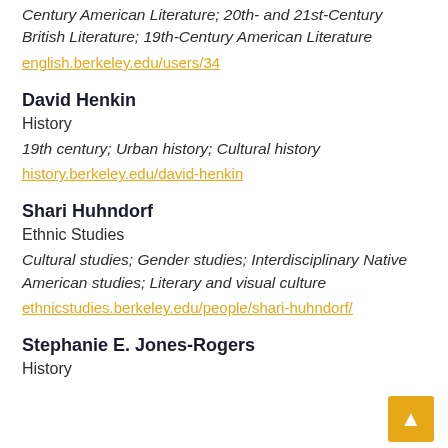Century American Literature; 20th- and 21st-Century British Literature; 19th-Century American Literature
english.berkeley.edu/users/34
David Henkin
History
19th century; Urban history; Cultural history
history.berkeley.edu/david-henkin
Shari Huhndorf
Ethnic Studies
Cultural studies; Gender studies; Interdisciplinary Native American studies; Literary and visual culture
ethnicstudies.berkeley.edu/people/shari-huhndorf/
Stephanie E. Jones-Rogers
History